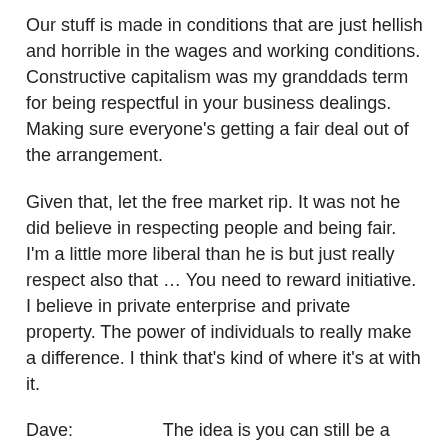Our stuff is made in conditions that are just hellish and horrible in the wages and working conditions. Constructive capitalism was my granddads term for being respectful in your business dealings. Making sure everyone's getting a fair deal out of the arrangement.
Given that, let the free market rip. It was not he did believe in respecting people and being fair. I'm a little more liberal than he is but just really respect also that … You need to reward initiative. I believe in private enterprise and private property. The power of individuals to really make a difference. I think that's kind of where it's at with it.
Dave:                    The idea is you can still be a capitalist but you can treat people like human beings and not destroy the planet while you're doing it.